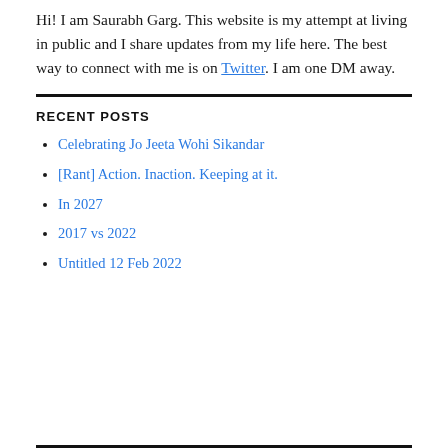Hi! I am Saurabh Garg. This website is my attempt at living in public and I share updates from my life here. The best way to connect with me is on Twitter. I am one DM away.
RECENT POSTS
Celebrating Jo Jeeta Wohi Sikandar
[Rant] Action. Inaction. Keeping at it.
In 2027
2017 vs 2022
Untitled 12 Feb 2022